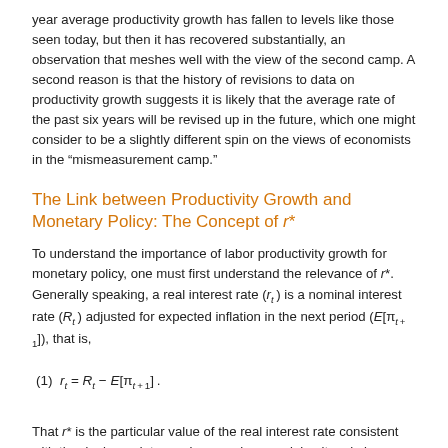year average productivity growth has fallen to levels like those seen today, but then it has recovered substantially, an observation that meshes well with the view of the second camp. A second reason is that the history of revisions to data on productivity growth suggests it is likely that the average rate of the past six years will be revised up in the future, which one might consider to be a slightly different spin on the views of economists in the “mismeasurement camp.”
The Link between Productivity Growth and Monetary Policy: The Concept of r*
To understand the importance of labor productivity growth for monetary policy, one must first understand the relevance of r*. Generally speaking, a real interest rate (r_t) is a nominal interest rate (R_t) adjusted for expected inflation in the next period (E[π_{t+1}]), that is,
That r* is the particular value of the real interest rate consistent with the dual mandate can be seen by examining its role in a standard Taylor rule for setting the nominal interest rate, like the policy rules